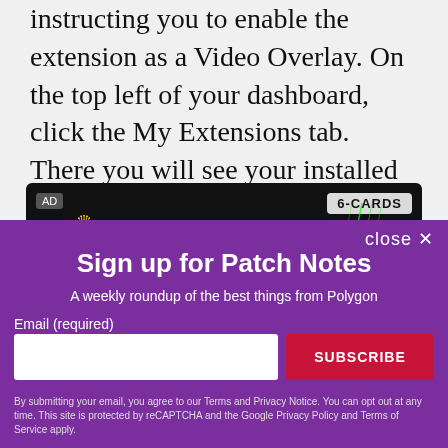instructing you to enable the extension as a Video Overlay. On the top left of your dashboard, click the My Extensions tab. There you will see your installed and activated extensions.
[Figure (screenshot): DraftKings advertisement banner showing 'REIGN MAKERS' branding with a green neon football field background and '6-CARDS' badge]
[Figure (screenshot): Polygon newsletter signup modal with purple background. Title: 'Sign up for Patch Notes'. Subtitle: 'A weekly roundup of the best things from Polygon'. Email input field and SUBSCRIBE button. Footer disclaimer about Terms, Privacy Notice, reCAPTCHA, Google Privacy Policy and Terms of Service.]